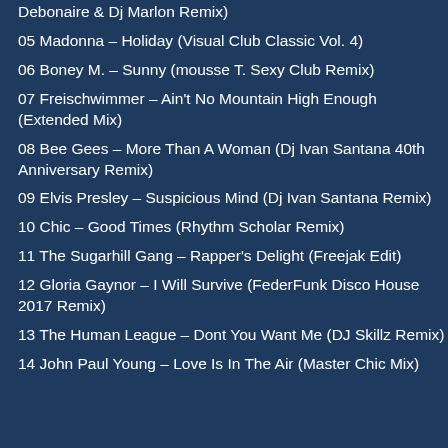Debonaire & Dj Marlon Remix)
05 Madonna – Holiday (Visual Club Classic Vol. 4)
06 Boney M. – Sunny (mousse T. Sexy Club Remix)
07 Freischwimmer – Ain't No Mountain High Enough (Extended Mix)
08 Bee Gees – More Than A Woman (Dj Ivan Santana 40th Anniversary Remix)
09 Elvis Presley – Suspicious Mind (Dj Ivan Santana Remix)
10 Chic – Good Times (Rhythm Scholar Remix)
11 The Sugarhill Gang – Rapper's Delight (Freejak Edit)
12 Gloria Gaynor – I Will Survive (FederFunk Disco House 2017 Remix)
13 The Human League – Dont You Want Me (DJ Skillz Remix)
14 John Paul Young – Love Is In The Air (Master Chic Mix)